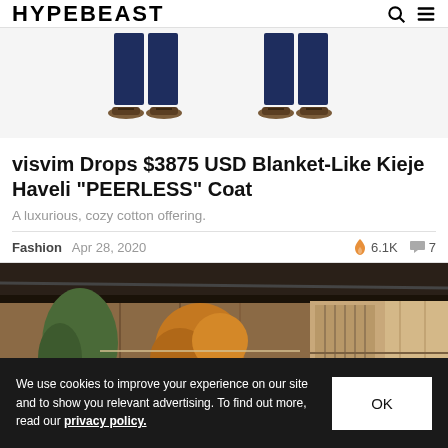HYPEBEAST
[Figure (photo): Two figures showing lower body with dark navy pants and sandals against a light gray background]
visvim Drops $3875 USD Blanket-Like Kieje Haveli "PEERLESS" Coat
A luxurious, cozy cotton offering.
Fashion   Apr 28, 2020   🔥 6.1K  💬 7
[Figure (photo): Outdoor Japanese-style courtyard with trees showing autumn foliage, wooden walls, and a sliding door building]
We use cookies to improve your experience on our site and to show you relevant advertising. To find out more, read our privacy policy.